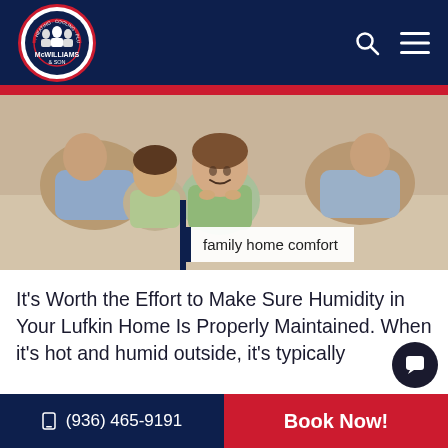McWilliams & Son — Navigation header with logo, search icon, and menu icon
[Figure (photo): Photo of a smiling family — parents lying on the floor with children, viewed from above. A dark blue vertical bar is on the left of the image.]
family home comfort
It's Worth the Effort to Make Sure Humidity in Your Lufkin Home Is Properly Maintained. When it's hot and humid outside, it's typically
(936) 465-9191  |  Book Now!